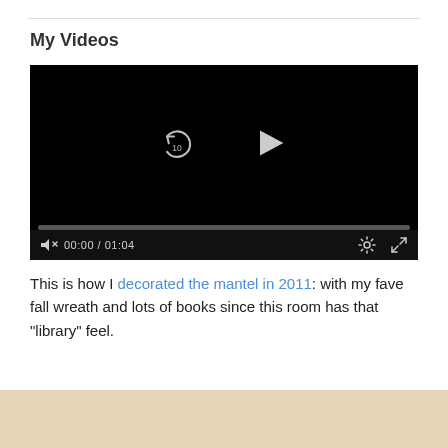My Videos
[Figure (screenshot): Video player with black background showing replay (10s) and play button controls, progress bar, time display 00:00 / 01:04, mute, settings and fullscreen icons]
This is how I decorated the mantel in 2011: with my fave fall wreath and lots of books since this room has that “library” feel.
[Figure (photo): Partial photo strip at bottom of page showing a warm-toned room image]